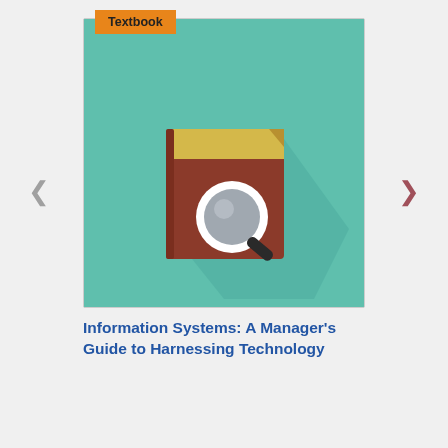[Figure (illustration): A flat-style illustration of a brown book with a yellow cover band at top and a magnifying glass icon on the front, set against a teal/mint green background. An orange badge labeled 'Textbook' is positioned at the top-left corner of the book cover image. Navigation arrows (left and right) appear on either side of the cover.]
Information Systems: A Manager's Guide to Harnessing Technology